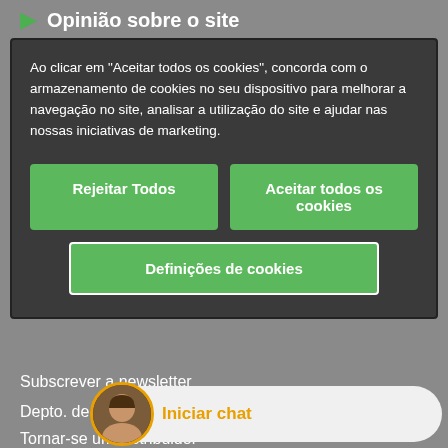Opinião sobre o site
Ao clicar em "Aceitar todos os cookies", concorda com o armazenamento de cookies no seu dispositivo para melhorar a navegação no site, analisar a utilização do site e ajudar nas nossas iniciativas de marketing.
Rejeitar Todos
Aceitar todos os cookies
Definições de cookies
Subscrever a newsletter
Depto. de compras
Tornar-se um distribuidor
Mapa de localização
Iniciar chat